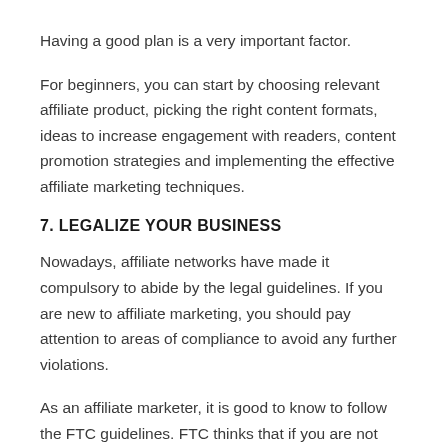Having a good plan is a very important factor.
For beginners, you can start by choosing relevant affiliate product, picking the right content formats, ideas to increase engagement with readers, content promotion strategies and implementing the effective affiliate marketing techniques.
7. LEGALIZE YOUR BUSINESS
Nowadays, affiliate networks have made it compulsory to abide by the legal guidelines. If you are new to affiliate marketing, you should pay attention to areas of compliance to avoid any further violations.
As an affiliate marketer, it is good to know to follow the FTC guidelines. FTC thinks that if you are not displaying